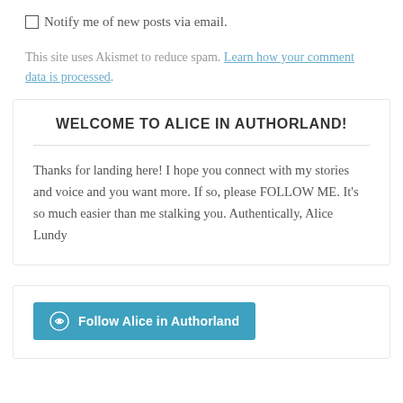Notify me of new posts via email.
This site uses Akismet to reduce spam. Learn how your comment data is processed.
WELCOME TO ALICE IN AUTHORLAND!
Thanks for landing here! I hope you connect with my stories and voice and you want more. If so, please FOLLOW ME. It’s so much easier than me stalking you. Authentically, Alice Lundy
Follow Alice in Authorland